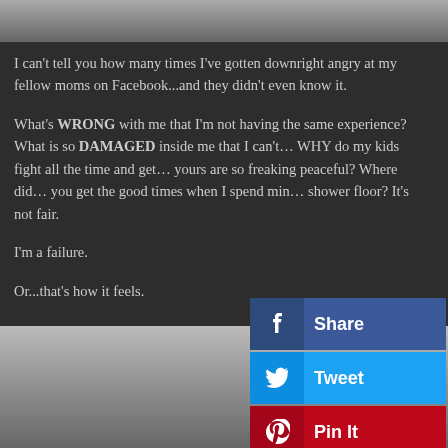[Figure (photo): Partial photo of a person in a suit at the top of the page]
I can't tell you how many times I've gotten downright angry at my fellow moms on Facebook...and they didn't even know it.
What's WRONG with me that I'm not having the same experience? What is so DAMAGED inside me that I can't... WHY do my kids fight all the time and get... yours are so freaking peaceful? Where did... you get the good times when I spend min... shower floor? It's not fair.
I'm a failure.
Or...that's how it feels.
[Figure (photo): Close-up photo of a man with eyes closed, appearing distressed]
[Figure (infographic): Social media share buttons overlay: Facebook Share, Tweet, Pin It, YouTube Share, Instagram Share, Messenger Share]